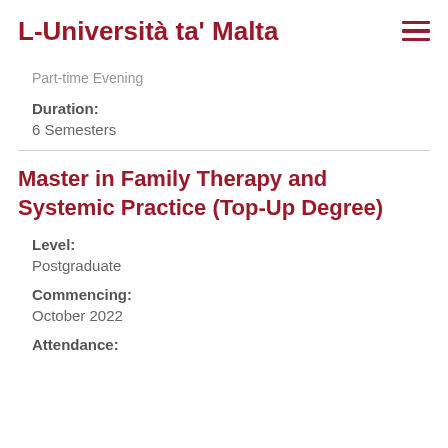L-Università ta' Malta
Part-time Evening
Duration:
6 Semesters
Master in Family Therapy and Systemic Practice (Top-Up Degree)
Level:
Postgraduate
Commencing:
October 2022
Attendance: